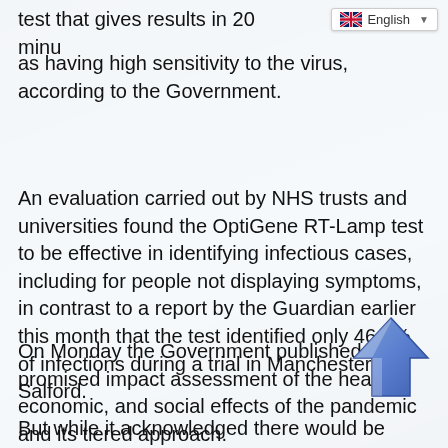[Figure (screenshot): Language selector dropdown showing English with UK flag icon]
test that gives results in 20 minu… as having high sensitivity to the virus, according to the Government.
An evaluation carried out by NHS trusts and universities found the OptiGene RT-Lamp test to be effective in identifying infectious cases, including for people not displaying symptoms, in contrast to a report by the Guardian earlier this month that the test identified only 46.7% of infections during a trial in Manchester and Salford.
On Monday the Government published its promised impact assessment of the health, economic, and social effects of the pandemic and its tiered approach.
But while it acknowledged there would be ‘significant…